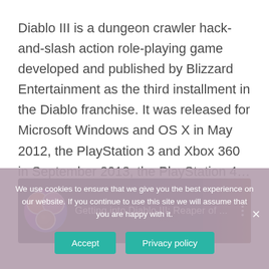Diablo III is a dungeon crawler hack-and-slash action role-playing game developed and published by Blizzard Entertainment as the third installment in the Diablo franchise. It was released for Microsoft Windows and OS X in May 2012, the PlayStation 3 and Xbox 360 in September 2013, the PlayStation 4...
[Figure (screenshot): Video thumbnail showing faces and text 'Getting into Diablo III: Reaper of ...' with three-dot menu icon on dark background]
We use cookies to ensure that we give you the best experience on our website. If you continue to use this site we will assume that you are happy with it.